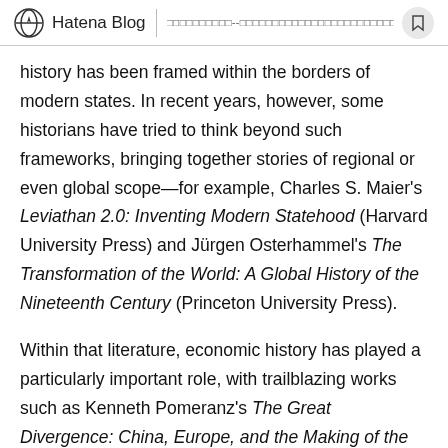Hatena Blog | [navigation text in Japanese]
history has been framed within the borders of modern states. In recent years, however, some historians have tried to think beyond such frameworks, bringing together stories of regional or even global scope—for example, Charles S. Maier's Leviathan 2.0: Inventing Modern Statehood (Harvard University Press) and Jürgen Osterhammel's The Transformation of the World: A Global History of the Nineteenth Century (Princeton University Press).
Within that literature, economic history has played a particularly important role, with trailblazing works such as Kenneth Pomeranz's The Great Divergence: China, Europe, and the Making of the Modern World Economy